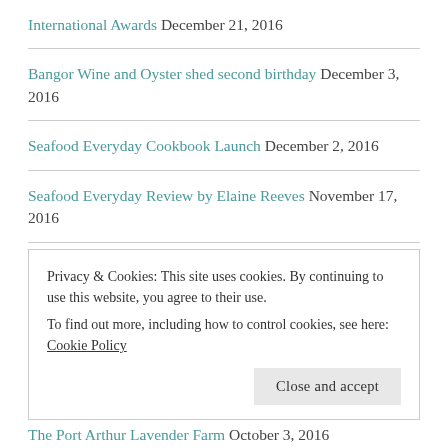International Awards December 21, 2016
Bangor Wine and Oyster shed second birthday December 3, 2016
Seafood Everyday Cookbook Launch December 2, 2016
Seafood Everyday Review by Elaine Reeves November 17, 2016
Bruny Island November 10, 2016
Wobbly Boot Vineyard -Asparagus Salmon Nori Roulade October 27, 2016
Day Trips, Food and More October 23, 2016 (partial)
Privacy & Cookies: This site uses cookies. By continuing to use this website, you agree to their use.
To find out more, including how to control cookies, see here: Cookie Policy
The Port Arthur Lavender Farm October 3, 2016